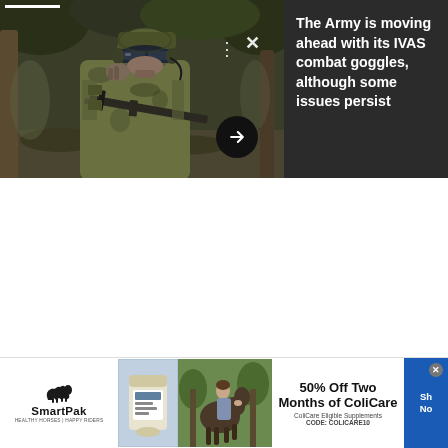[Figure (photo): A soldier in full camouflage gear with combat helmet and IVAS goggles, holding a rifle in a wooded outdoor setting. Dark × and ⋮ UI controls are overlaid on the photo, along with a dark circular arrow button at the bottom right of the image.]
The Army is moving ahead with its IVAS combat goggles, although some issues persist
[Figure (screenshot): SmartPak advertisement banner showing: SmartPak logo with horse icon and tagline 'Healthy Horses | Happy Riders', a product supplement image, a woman with a horse outdoors, and offer text '50% Off Two Months of ColiCare, ColiCare Eligible Supplements, CODE: COLICARE10', with a blue 'Shop Now' call-to-action button and a close X button.]